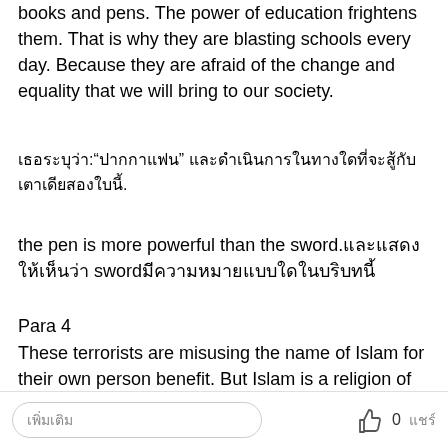books and pens. The power of education frightens them. That is why they are blasting schools every day. Because they are afraid of the change and equality that we will bring to our society.
เธอระบุว่า:"ปากกาแฟน" และดำเนินการในทางใดที่จะสู้กับเตาเดียสองใบนี้.
the pen is more powerful than the sword.และแสดงให้เห็นว่า sword มีความหมายแบบใดในบริบทนี้
Para 4
These terrorists are misusing the name of Islam for their own person benefit. But Islam is a religion of peace, humanity and brotherhood. It is every country’s duty and responsibility to get education for
เพิ่มเติม    0    แชร์